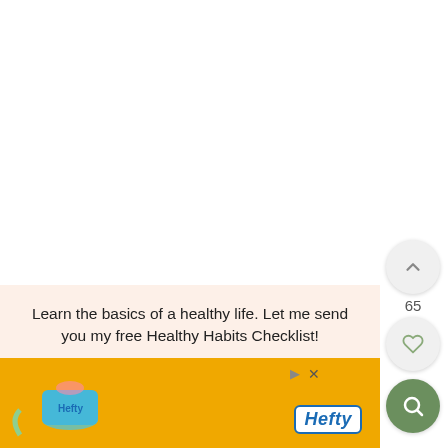65
Learn the basics of a healthy life. Let me send you my free Healthy Habits Checklist!
E-mail address
[Figure (screenshot): Advertisement banner with orange background showing a Hefty product (cup/bucket) and Hefty brand logo. Play and close icons visible at top right.]